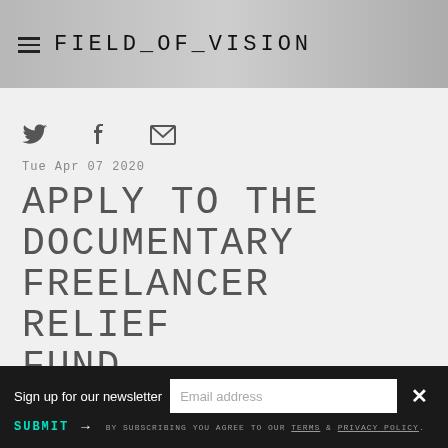FIELD_OF_VISION
[Figure (illustration): Social share icons: Twitter bird, Facebook F, and envelope/email icons in gray]
Tue Apr 07 2020
APPLY TO THE DOCUMENTARY FREELANCER RELIEF FUND
Sign up for our newsletter  Email address  SUBMIT → BY SUBSCRIBING YOU AGREE TO OUR TERMS & PRIVACY POLICY.